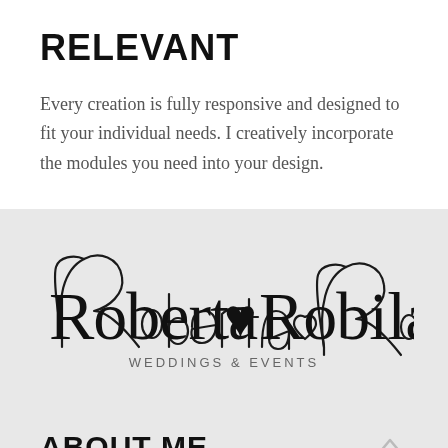RELEVANT
Every creation is fully responsive and designed to fit your individual needs. I creatively incorporate the modules you need into your design.
[Figure (logo): Roberta Robilandia Weddings & Events script logo with cursive handwritten text and subtitle 'WEDDINGS & EVENTS' in spaced capitals]
ABOUT ME